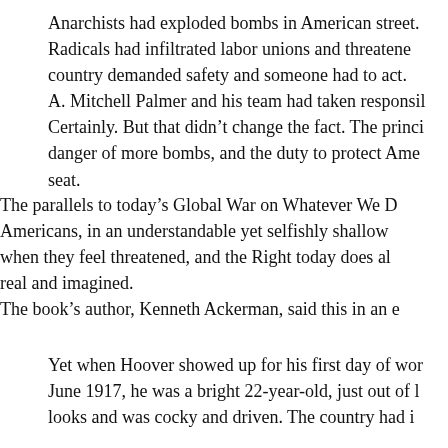Anarchists had exploded bombs in American street. Radicals had infiltrated labor unions and threatened the country demanded safety and someone had to act. A. Mitchell Palmer and his team had taken responsibility. Certainly. But that didn't change the fact. The principle of danger of more bombs, and the duty to protect Americans seat.
The parallels to today's Global War on Whatever We D Americans, in an understandable yet selfishly shallow when they feel threatened, and the Right today does all real and imagined. The book's author, Kenneth Ackerman, said this in an e
Yet when Hoover showed up for his first day of work June 1917, he was a bright 22-year-old, just out of l looks and was cocky and driven. The country had i